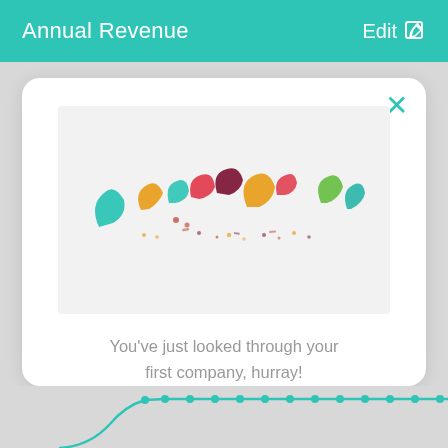Annual Revenue   Edit
[Figure (illustration): Colorful confetti/celebration illustration with curved paper shapes in teal, orange, red, yellow, green, and dark red, scattered across a light grey rectangle]
You've just looked through your first company, hurray!
[Figure (line-chart): Partial teal line chart visible at the bottom of the page, showing a curved line rising steeply then leveling off, with dots at data points along a roughly horizontal line]